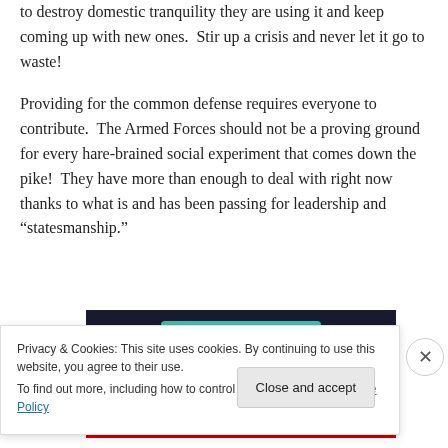to destroy domestic tranquility they are using it and keep coming up with new ones.  Stir up a crisis and never let it go to waste!
Providing for the common defense requires everyone to contribute.  The Armed Forces should not be a proving ground for every hare-brained social experiment that comes down the pike!  They have more than enough to deal with right now thanks to what is and has been passing for leadership and “statesmanship.”
[Figure (screenshot): Dark banner image with teal element visible at top, partially obscured by cookie consent overlay]
Privacy & Cookies: This site uses cookies. By continuing to use this website, you agree to their use.
To find out more, including how to control cookies, see here: Cookie Policy